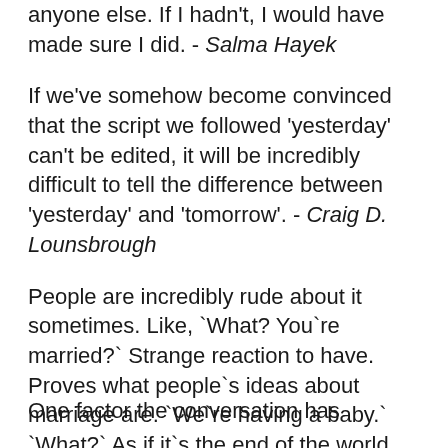anyone else. If I hadn't, I would have made sure I did. - Salma Hayek
If we've somehow become convinced that the script we followed 'yesterday' can't be edited, it will be incredibly difficult to tell the difference between 'yesterday' and 'tomorrow'. - Craig D. Lounsbrough
People are incredibly rude about it sometimes. Like, `What? You`re married?` Strange reaction to have. Proves what people`s ideas about marriage are. `We`re having a baby.` `What?` As if it`s the end of the world. Of course, it`s the start of a brilliant world. - Ewan McGregor
One factor the conversation has resulted...